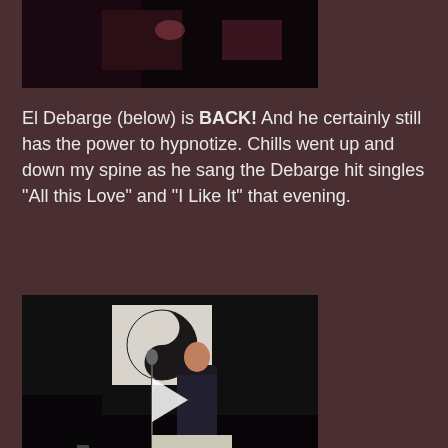[Figure (photo): Dark photo, top portion of a concert or performance scene, mostly black]
El Debarge (below) is BACK! And he certainly still has the power to hypnotize. Chills went up and down my spine as he sang the Debarge hit singles "All this Love" and "I Like It" that evening.
[Figure (screenshot): Video player showing El Debarge performing on stage, dark venue with a yin-yang banner visible, man in suit at microphone, white play button overlay in center]